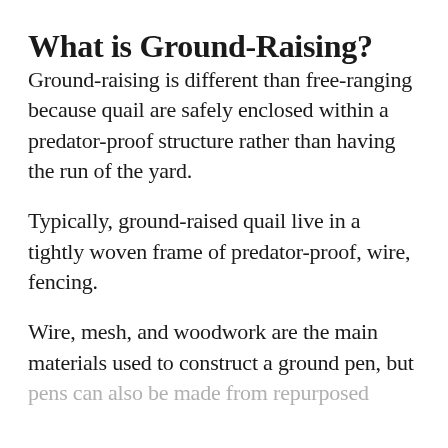What is Ground-Raising?
Ground-raising is different than free-ranging because quail are safely enclosed within a predator-proof structure rather than having the run of the yard.
Typically, ground-raised quail live in a tightly woven frame of predator-proof, wire, fencing.
Wire, mesh, and woodwork are the main materials used to construct a ground pen, but pens can also be made from repurposed